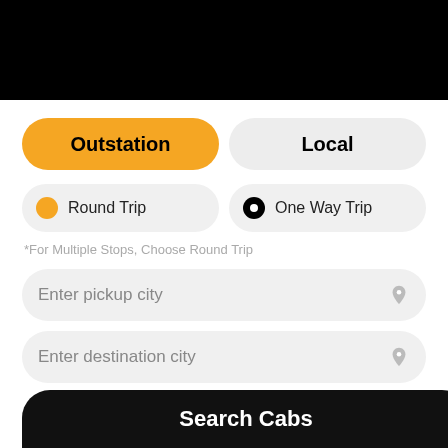[Figure (screenshot): Mobile app UI screenshot showing cab booking interface with Outstation and Local tabs, Round Trip and One Way Trip options, input fields for pickup city, destination city, mobile number, and a Search Cabs button.]
Outstation
Local
Round Trip
One Way Trip
*For Multiple Stops, Choose Round Trip
Enter pickup city
Enter destination city
Enter your mobile number +91
Search Cabs